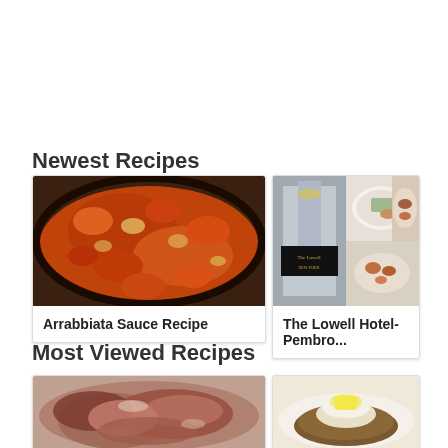Newest Recipes
[Figure (photo): Arrabbiata sauce in a pan with tomatoes and onions]
Arrabbiata Sauce Recipe
[Figure (photo): The Lowell Hotel Pembroke Room food collage]
The Lowell Hotel-Pembro...
Most Viewed Recipes
[Figure (photo): Sliced cooked meat]
[Figure (photo): Baked potato with butter and sour cream]